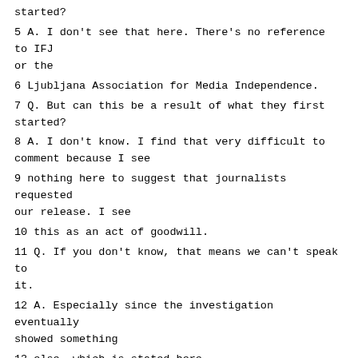started?
5 A. I don't see that here. There's no reference to IFJ or the
6 Ljubljana Association for Media Independence.
7 Q. But can this be a result of what they first started?
8 A. I don't know. I find that very difficult to comment because I see
9 nothing here to suggest that journalists requested our release. I see
10 this as an act of goodwill.
11 Q. If you don't know, that means we can't speak to it.
12 A. Especially since the investigation eventually showed something
13 else, which is stated here.
14 Q. All right. Let's just go back to this. On the 19th you're on
15 your way. You signed the paper, and together with everybody else, with